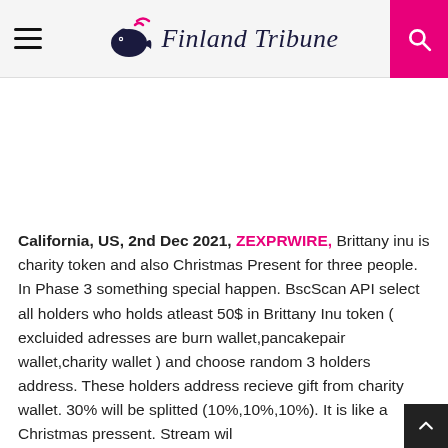Finland Tribune
California, US, 2nd Dec 2021, ZEXPRWIRE, Brittany inu is charity token and also Christmas Present for three people. In Phase 3 something special happen. BscScan API select all holders who holds atleast 50$ in Brittany Inu token ( excluided adresses are burn wallet,pancakepair wallet,charity wallet ) and choose random 3 holders address. These holders address recieve gift from charity wallet. 30% will be splitted (10%,10%,10%). It is like a Christmas pressent. Stream wil